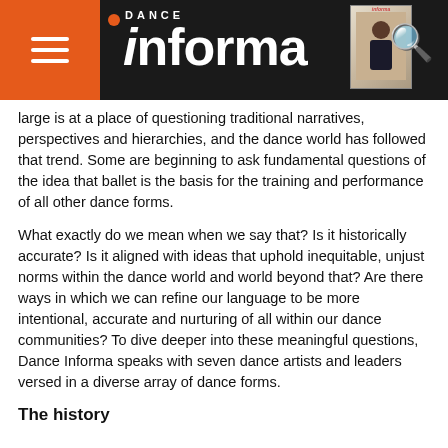Dance Informa — navigation header with logo and search
large is at a place of questioning traditional narratives, perspectives and hierarchies, and the dance world has followed that trend. Some are beginning to ask fundamental questions of the idea that ballet is the basis for the training and performance of all other dance forms.
What exactly do we mean when we say that? Is it historically accurate? Is it aligned with ideas that uphold inequitable, unjust norms within the dance world and world beyond that? Are there ways in which we can refine our language to be more intentional, accurate and nurturing of all within our dance communities? To dive deeper into these meaningful questions, Dance Informa speaks with seven dance artists and leaders versed in a diverse array of dance forms.
The history